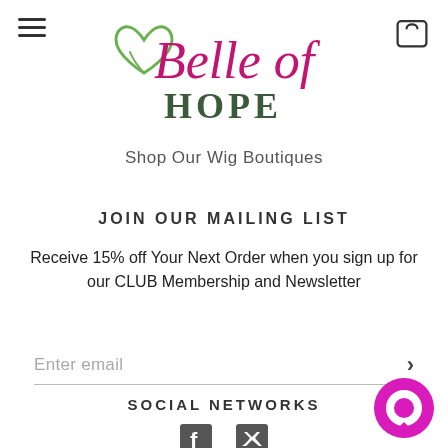[Figure (logo): Belle of Hope logo with green heart and pink/magenta script text]
Shop Our Wig Boutiques
JOIN OUR MAILING LIST
Receive 15% off Your Next Order when you sign up for our CLUB Membership and Newsletter
Enter email
SOCIAL NETWORKS
[Figure (illustration): Facebook and Twitter social media icons at bottom]
[Figure (illustration): Magenta chat bubble icon in bottom right corner]